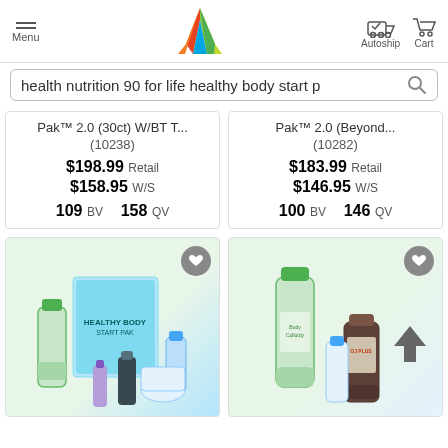Menu | [Logo] | Autoship | Cart
health nutrition 90 for life healthy body start p
Pak™ 2.0 (30ct) W/BT T... (10238) $198.99 Retail $158.95 W/S 109 BV 158 QV
Pak™ 2.0 (Beyond... (10282) $183.99 Retail $146.95 W/S 100 BV 146 QV
[Figure (photo): Healthy Body Start Pak product bundle with bottles, box and supplements]
[Figure (photo): Healthy Body supplement bottles and vitamins product bundle]